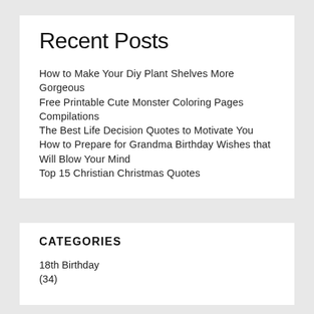Recent Posts
How to Make Your Diy Plant Shelves More Gorgeous
Free Printable Cute Monster Coloring Pages Compilations
The Best Life Decision Quotes to Motivate You
How to Prepare for Grandma Birthday Wishes that Will Blow Your Mind
Top 15 Christian Christmas Quotes
CATEGORIES
18th Birthday
(34)